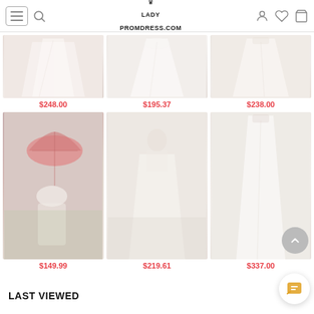LADY PROMDRESS.COM
[Figure (photo): Product photo 1 - wedding/prom dress, white/ivory, row 1 column 1]
$248.00
[Figure (photo): Product photo 2 - wedding/prom dress, white, row 1 column 2]
$195.37
[Figure (photo): Product photo 3 - wedding/prom dress, beige/ivory, row 1 column 3]
$238.00
[Figure (photo): Product photo 4 - bride with pink umbrella outdoors, row 2 column 1]
$149.99
[Figure (photo): Product photo 5 - bride in white gown, row 2 column 2]
$219.61
[Figure (photo): Product photo 6 - wedding dress on hanger/mannequin, row 2 column 3]
$337.00
LAST VIEWED